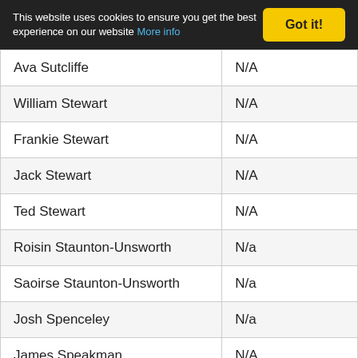This website uses cookies to ensure you get the best experience on our website More info  Got it!
| Ava Sutcliffe | N/A |
| William Stewart | N/A |
| Frankie Stewart | N/A |
| Jack Stewart | N/A |
| Ted Stewart | N/A |
| Roisin Staunton-Unsworth | N/a |
| Saoirse Staunton-Unsworth | N/a |
| Josh Spenceley | N/a |
| James Speakman | N/A |
| Lily Simm | KAM |
| Poppy Shawcross | N/A |